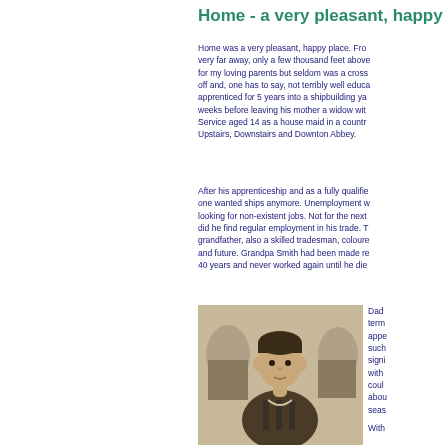Home - a very pleasant, happy place
Home was a very pleasant, happy place. From very far away, only a few thousand feet above for my loving parents but seldom was a cross off and, one has to say, not terribly well educa apprenticed for 5 years into a shipbuilding ya weeks before leaving his mother a widow with Service aged 14 as a house maid in a countr Upstairs, Downstairs and Downton Abbey.
After his apprenticeship and as a fully qualifie one wanted ships anymore. Unemployment w looking for non-existent jobs. Not for the nex did he find regular employment in his trade. T grandfather, also a skilled tradesman, colour and future. Grandpa Smith had been made re 40 years and never worked again until he die
[Figure (photo): Sepia photograph of a young man, likely a football player, wearing a striped jersey, with other people visible in the background]
Dad term appe such signi with coul abou seas
With